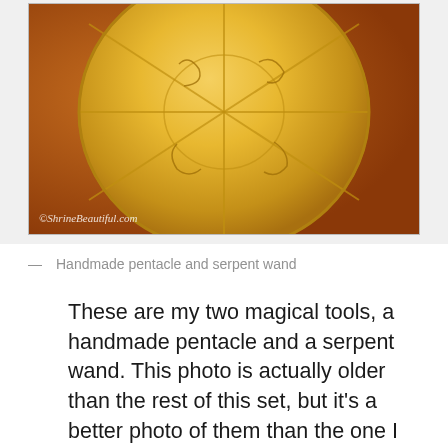[Figure (photo): Close-up photo of a handmade golden pentacle disc with engraved symbols and sections, watermarked with ©ShrinrBeautiful.com]
— Handmade pentacle and serpent wand
These are my two magical tools, a handmade pentacle and a serpent wand. This photo is actually older than the rest of this set, but it's a better photo of them than the one I took with this set. I use them for my magical practice, most of which I do on this shrine. The pentacle has representations of the Nine Elements, my own personal elemental system. The wand also has these symbols scribed into it. It's not a